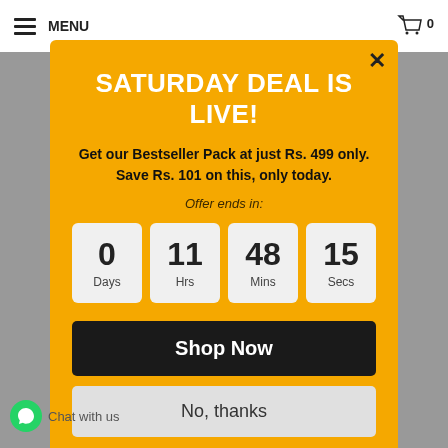MENU  0
SATURDAY DEAL IS LIVE!
Get our Bestseller Pack at just Rs. 499 only. Save Rs. 101 on this, only today.
Offer ends in:
0 Days  11 Hrs  48 Mins  15 Secs
Shop Now
No, thanks